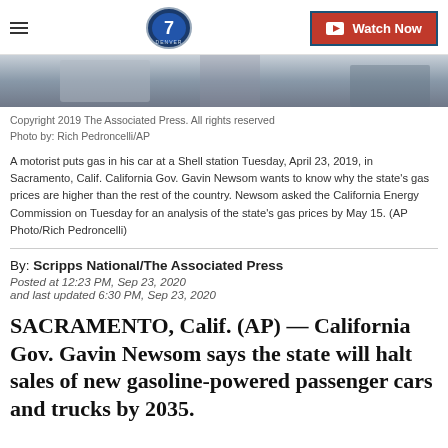Denver7 | Watch Now
[Figure (photo): Photo strip showing a gas station scene, cropped view]
Copyright 2019 The Associated Press. All rights reserved
Photo by: Rich Pedroncelli/AP
A motorist puts gas in his car at a Shell station Tuesday, April 23, 2019, in Sacramento, Calif. California Gov. Gavin Newsom wants to know why the state's gas prices are higher than the rest of the country. Newsom asked the California Energy Commission on Tuesday for an analysis of the state's gas prices by May 15. (AP Photo/Rich Pedroncelli)
By: Scripps National/The Associated Press
Posted at 12:23 PM, Sep 23, 2020
and last updated 6:30 PM, Sep 23, 2020
SACRAMENTO, Calif. (AP) — California Gov. Gavin Newsom says the state will halt sales of new gasoline-powered passenger cars and trucks by 2035.